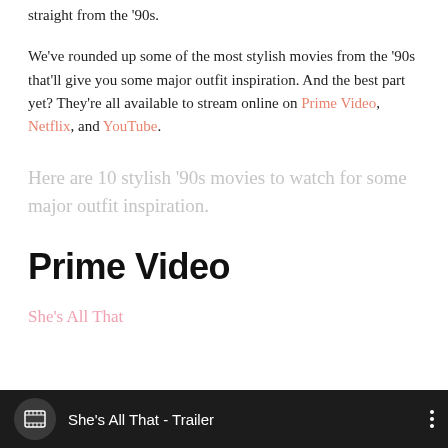straight from the '90s.
We've rounded up some of the most stylish movies from the '90s that'll give you some major outfit inspiration. And the best part yet? They're all available to stream online on Prime Video, Netflix, and YouTube.
Here are 10 stylish '90s movies to watch for some major outfit inspiration.
Prime Video
She's All That
[Figure (screenshot): Video player bar showing 'She's All That - Trailer' with film reel icon and three-dot menu on dark background]